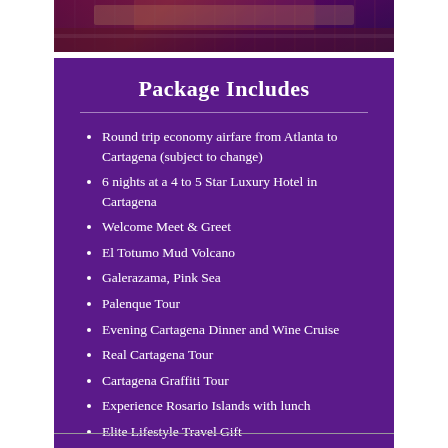[Figure (photo): Aerial or street-level photo of a city building with red/terracotta roof and white facade, purple-toned overlay]
Package Includes
Round trip economy airfare from Atlanta to Cartagena (subject to change)
6 nights at a 4 to 5 Star Luxury Hotel in Cartagena
Welcome Meet & Greet
El Totumo Mud Volcano
Galerazama, Pink Sea
Palenque Tour
Evening Cartagena Dinner and Wine Cruise
Real Cartagena Tour
Cartagena Graffiti Tour
Experience Rosario Islands with lunch
Elite Lifestyle Travel Gift